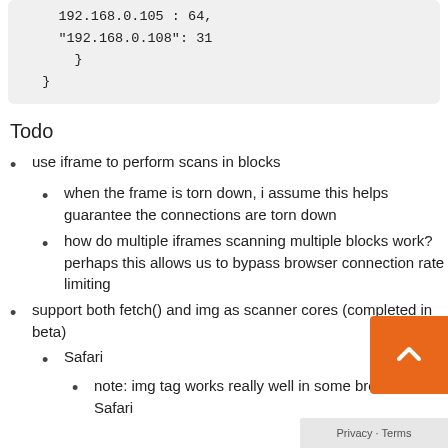192.168.0.105 : 64,
"192.168.0.108": 31
    }
}
Todo
use iframe to perform scans in blocks
when the frame is torn down, i assume this helps guarantee the connections are torn down
how do multiple iframes scanning multiple blocks work? perhaps this allows us to bypass browser connection rate limiting
support both fetch() and img as scanner cores (completed in beta)
Safari
note: img tag works really well in some browsers like Safari